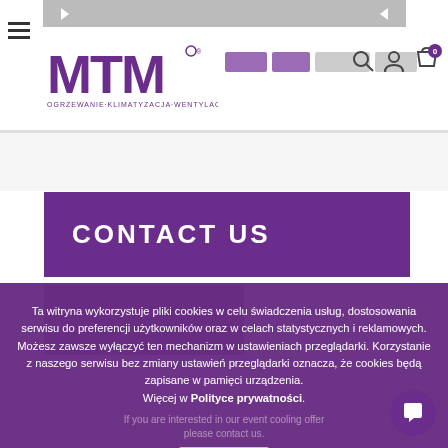[Figure (screenshot): MTM logo - purple stylized MTM letters with tagline OGRZEWANIE-KLIMATYZACJA-WENTYLACJA]
CONTACT US
Ta witryna wykorzystuje pliki cookies w celu świadczenia usług, dostosowania serwisu do preferencji użytkowników oraz w celach statystycznych i reklamowych. Możesz zawsze wyłączyć ten mechanizm w ustawieniach przeglądarki. Korzystanie z naszego serwisu bez zmiany ustawień przeglądarki oznacza, że cookies będą zapisane w pamięci urządzenia. Więcej w Polityce prywatności.
close